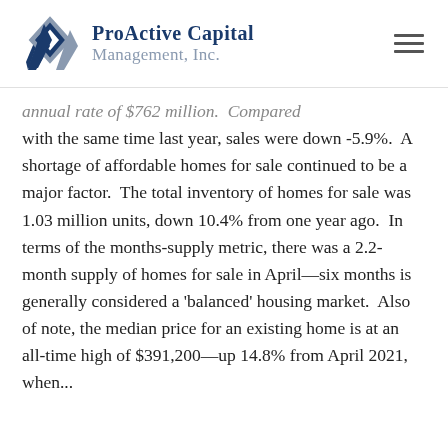ProActive Capital Management, Inc.
annual rate of $762 million. Compared with the same time last year, sales were down -5.9%. A shortage of affordable homes for sale continued to be a major factor. The total inventory of homes for sale was 1.03 million units, down 10.4% from one year ago. In terms of the months-supply metric, there was a 2.2-month supply of homes for sale in April—six months is generally considered a 'balanced' housing market. Also of note, the median price for an existing home is at an all-time high of $391,200—up 14.8% from April 2021 when...